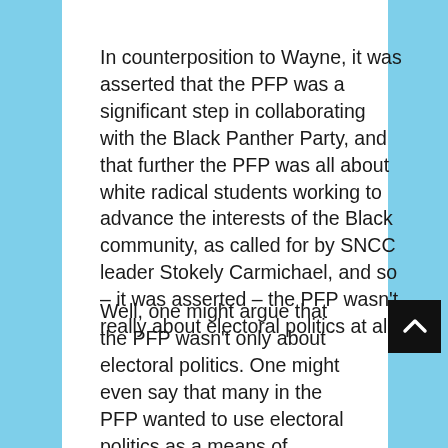In counterposition to Wayne, it was asserted that the PFP was a significant step in collaborating with the Black Panther Party, and that further the PFP was all about white radical students working to advance the interests of the Black community, as called for by SNCC leader Stokely Carmichael, and so – it was asserted – the PFP wasn't really about electoral politics at all.
Well, one might argue that the PFP wasn't only about electoral politics. One might even say that many in the PFP wanted to use electoral politics as a means of building support for the black liberation movement and an alliance with the Black Panther Party. But the PFP was